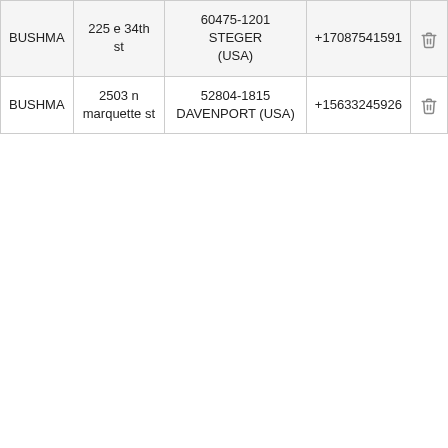| BUSHMA | 225 e 34th st | 60475-1201 STEGER (USA) | +17087541591 | 🗑 |
| BUSHMA | 2503 n marquette st | 52804-1815 DAVENPORT (USA) | +15633245926 | 🗑 |